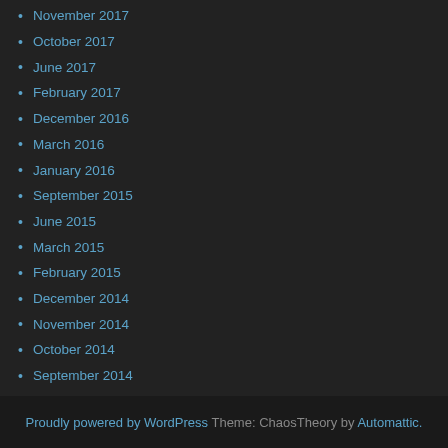November 2017
October 2017
June 2017
February 2017
December 2016
March 2016
January 2016
September 2015
June 2015
March 2015
February 2015
December 2014
November 2014
October 2014
September 2014
July 2014
June 2014
March 2014
December 2013
May 2013
April 2013
February 2013
Proudly powered by WordPress Theme: ChaosTheory by Automattic.